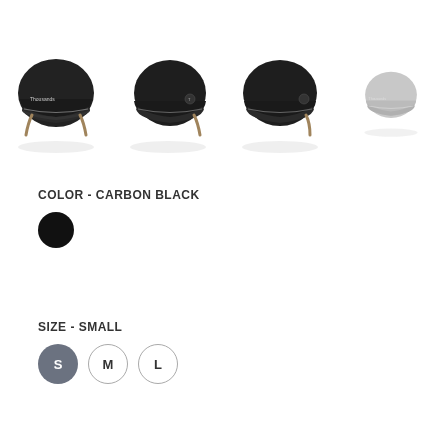[Figure (photo): Four bicycle helmets shown from the side in a horizontal row. Three are matte black/carbon black and one on the far right is light gray. They appear to be the same helmet model from similar angles with a visor and brown/tan chin strap detail.]
COLOR - CARBON BLACK
[Figure (infographic): A solid black circle representing the selected color: Carbon Black.]
SIZE - SMALL
[Figure (infographic): Three size selector buttons in a row: S (selected, filled dark gray circle), M (unselected, outlined circle), L (unselected, outlined circle).]